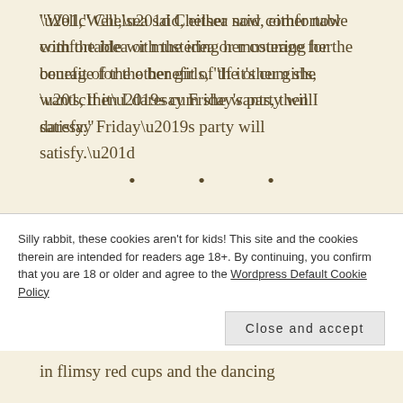“Well,” Chelsea said, either now comfortable with the idea or mustering her courage for the benefit of the other girls, “If it’s cum she wants, then I daresay Friday’s party will satisfy.”
•   •   •
Eddie couldn’t quite remember what parties had been like during her first life, but she was sure that this was
Silly rabbit, these cookies aren’t for kids! This site and the cookies therein are intended for readers age 18+. By continuing, you confirm that you are 18 or older and agree to the Wordpress Default Cookie Policy
Close and accept
in flimsy red cups and the dancing